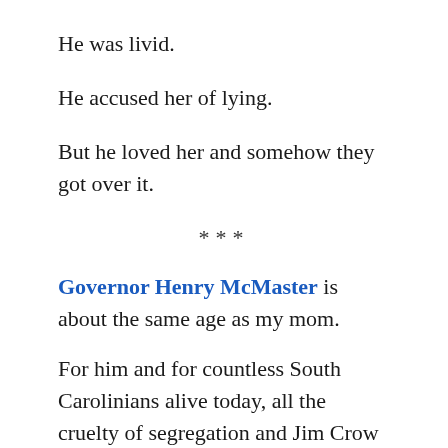He was livid.
He accused her of lying.
But he loved her and somehow they got over it.
***
Governor Henry McMaster is about the same age as my mom.
For him and for countless South Carolinians alive today, all the cruelty of segregation and Jim Crow is not some ancient mystic legend, it’s their formative years.  His political career, his party . . . that’s the party of Strom Thurmond and Fritz Hollings, who locked up the state’s Senate seats so tight that even I am old enough to remember the years when there was only one candidate on the ballot because